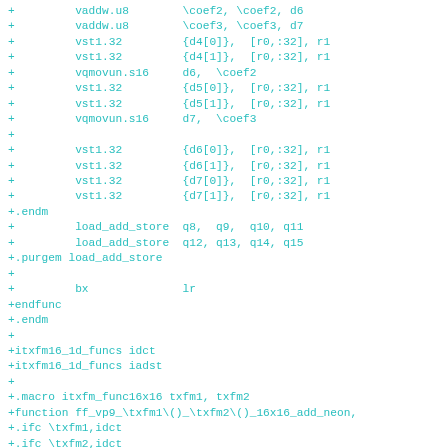Assembly/NEON code snippet showing vaddw.u8, vst1.32, vqmovun.s16, load_add_store macro, bx lr, itxfm16_1d_funcs, itxfm_func16x16 macro definitions